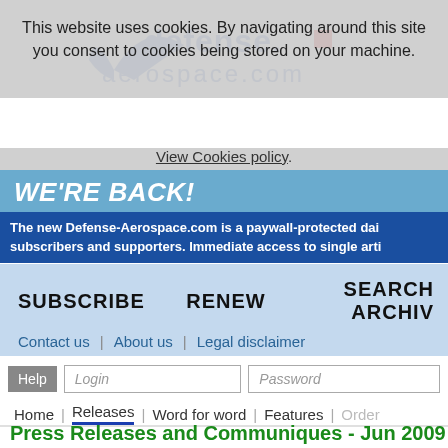This website uses cookies. By navigating around this site you consent to cookies being stored on your machine.
View Cookies policy.
WE'RE BACK!
The new Defense-Aerospace.com is a paywall-protected daily subscribers and supporters. Immediate access to single arti
SUBSCRIBE   RENEW   SEARCH ARCHI
Contact us | About us | Legal disclaimer
Help   Login   Password
Home | Releases | Word for word | Features | Order
Press Releases and Communiques - Jun 2009